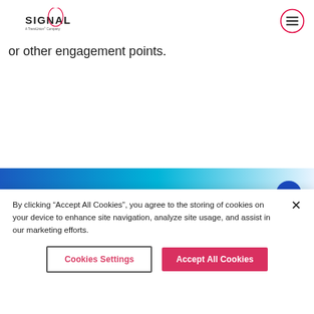SIGNAL A TransUnion Company
or other engagement points.
[Figure (illustration): Blue gradient horizontal banner with a dark blue circle element on the right side]
By clicking “Accept All Cookies”, you agree to the storing of cookies on your device to enhance site navigation, analyze site usage, and assist in our marketing efforts.
Cookies Settings
Accept All Cookies